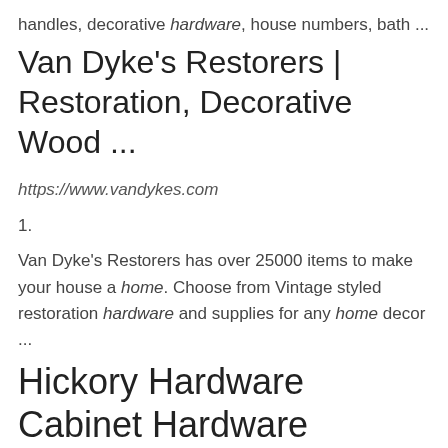handles, decorative hardware, house numbers, bath ...
Van Dyke's Restorers | Restoration, Decorative Wood ...
https://www.vandykes.com
1.
Van Dyke's Restorers has over 25000 items to make your house a home. Choose from Vintage styled restoration hardware and supplies for any home decor ...
Hickory Hardware Cabinet Hardware